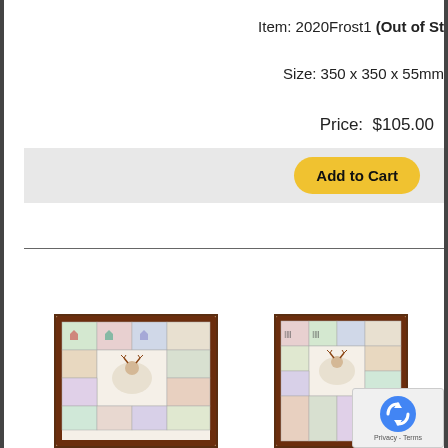Item: 2020Frost1 (Out of St…
Size: 350 x 350 x 55mm
Price: $105.00
[Figure (screenshot): Add to Cart button on a light grey bar, yellow rounded button with bold text 'Add to Cart']
[Figure (photo): Two product images of a quilted advent calendar with Christmas motifs including reindeer and small fabric pockets, with dark wooden frame]
[Figure (other): reCAPTCHA badge with spinning arrow logo and Privacy - Terms text]